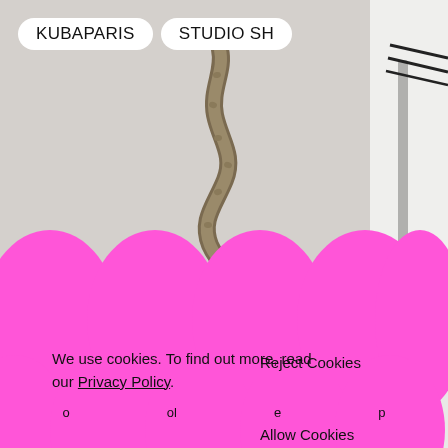[Figure (photo): Close-up photograph of a wavy/twisted organic sculptural form (resembling a vine or wire) against a light background, with a metal stand/clamp visible on the right side.]
KUBAPARIS   STUDIO SH
[Figure (illustration): Multiple overlapping hot-pink ellipse/oval shapes arranged in a row across the lower half of the page, forming a decorative wavy banner overlay.]
We use cookies. To find out more, read our Privacy Policy.
Reject Cookies

Allow Cookies
o   ol   e   p